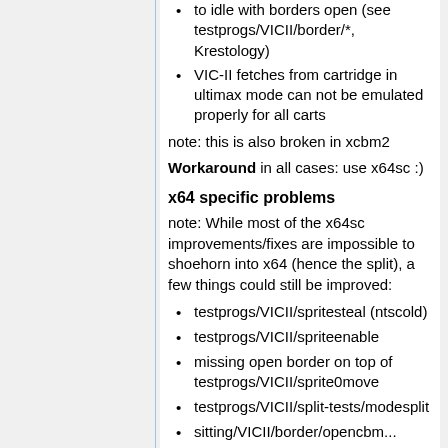to idle with borders open (see testprogs/VICII/border/*, Krestology)
VIC-II fetches from cartridge in ultimax mode can not be emulated properly for all carts
note: this is also broken in xcbm2
Workaround in all cases: use x64sc :)
x64 specific problems
note: While most of the x64sc improvements/fixes are impossible to shoehorn into x64 (hence the split), a few things could still be improved:
testprogs/VICII/spritesteal (ntscold)
testprogs/VICII/spriteenable
missing open border on top of testprogs/VICII/sprite0move
testprogs/VICII/split-tests/modesplit
sitting/VICII/border/opencbm...